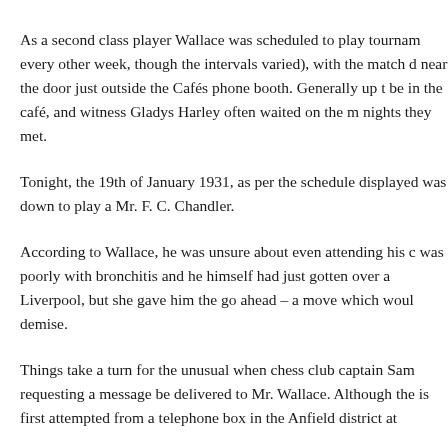As a second class player Wallace was scheduled to play tournam every other week, though the intervals varied), with the match d near the door just outside the Cafés phone booth. Generally up t be in the café, and witness Gladys Harley often waited on the m nights they met.
Tonight, the 19th of January 1931, as per the schedule displayed was down to play a Mr. F. C. Chandler.
According to Wallace, he was unsure about even attending his c was poorly with bronchitis and he himself had just gotten over a Liverpool, but she gave him the go ahead – a move which woul demise.
Things take a turn for the unusual when chess club captain Sam requesting a message be delivered to Mr. Wallace. Although the is first attempted from a telephone box in the Anfield district at